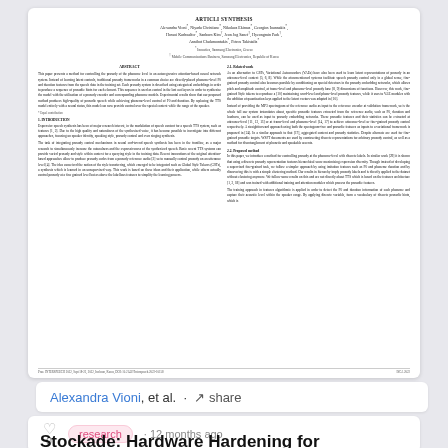[Figure (screenshot): Thumbnail of a scientific paper page showing title, authors, affiliations, abstract, introduction, and related work sections in two-column academic format]
Alexandra Vioni, et al. · share
research · 12 months ago
Stockade: Hardware Hardening for